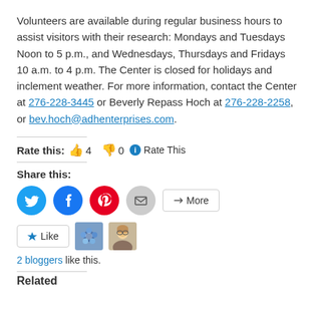Volunteers are available during regular business hours to assist visitors with their research: Mondays and Tuesdays Noon to 5 p.m., and Wednesdays, Thursdays and Fridays 10 a.m. to 4 p.m. The Center is closed for holidays and inclement weather. For more information, contact the Center at 276-228-3445 or Beverly Repass Hoch at 276-228-2258, or bev.hoch@adhenterprises.com.
Rate this: 4 0 Rate This
Share this:
[Figure (infographic): Social share buttons: Twitter (blue circle), Facebook (blue circle), Pinterest (red circle), Email (grey circle), More button]
Like button with 2 bloggers like this, with two blogger avatars shown.
Related